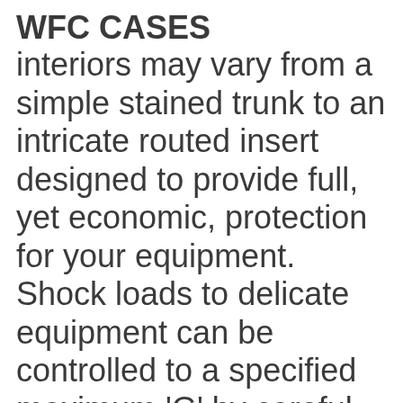WFC CASES
interiors may vary from a simple stained trunk to an intricate routed insert designed to provide full, yet economic, protection for your equipment. Shock loads to delicate equipment can be controlled to a specified maximum 'G' by careful selection of foam